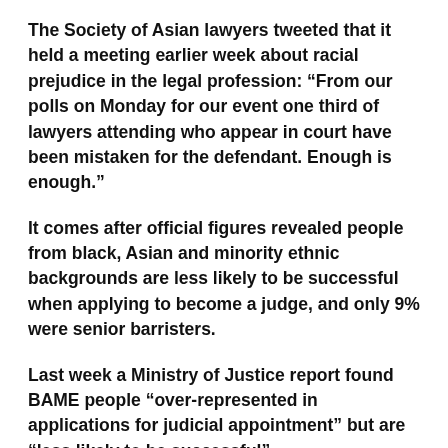The Society of Asian lawyers tweeted that it held a meeting earlier week about racial prejudice in the legal profession: “From our polls on Monday for our event one third of lawyers attending who appear in court have been mistaken for the defendant. Enough is enough.”
It comes after official figures revealed people from black, Asian and minority ethnic backgrounds are less likely to be successful when applying to become a judge, and only 9% were senior barristers.
Last week a Ministry of Justice report found BAME people “over-represented in applications for judicial appointment” but are “less likely to be successful”.